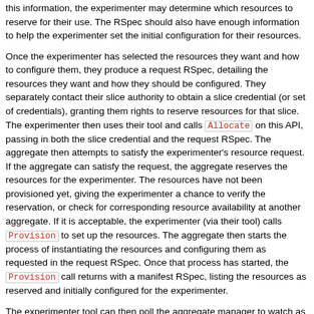this information, the experimenter may determine which resources to reserve for their use. The RSpec should also have enough information to help the experimenter set the initial configuration for their resources.
Once the experimenter has selected the resources they want and how to configure them, they produce a request RSpec, detailing the resources they want and how they should be configured. They separately contact their slice authority to obtain a slice credential (or set of credentials), granting them rights to reserve resources for that slice. The experimenter then uses their tool and calls Allocate on this API, passing in both the slice credential and the request RSpec. The aggregate then attempts to satisfy the experimenter's resource request. If the aggregate can satisfy the request, the aggregate reserves the resources for the experimenter. The resources have not been provisioned yet, giving the experimenter a chance to verify the reservation, or check for corresponding resource availability at another aggregate. If it is acceptable, the experimenter (via their tool) calls Provision to set up the resources. The aggregate then starts the process of instantiating the resources and configuring them as requested in the request RSpec. Once that process has started, the Provision call returns with a manifest RSpec, listing the resources as reserved and initially configured for the experimenter.
The experimenter tool can then poll the aggregate manager to watch as the resources are configured and become ready for use, by calling Status , looking for an operational state other than geni_pending_allocation . The actual operational state that the sliver will change to depends on the sliver and aggregate type.